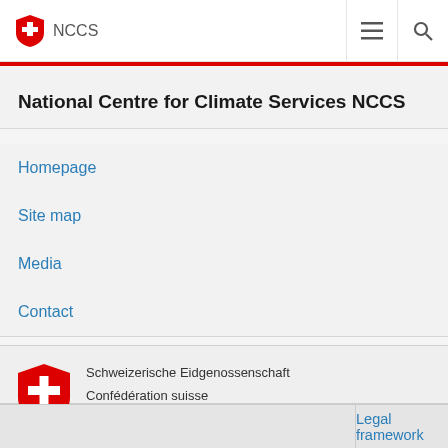NCCS
National Centre for Climate Services NCCS
Homepage
Site map
Media
Contact
[Figure (logo): Swiss Confederation shield logo with white cross on red background, with multilingual text: Schweizerische Eidgenossenschaft, Confédération suisse, Confederazione Svizzera, Confederaziun svizra]
Schweizerische Eidgenossenschaft
Confédération suisse
Confederazione Svizzera
Confederaziun svizra
Legal framework